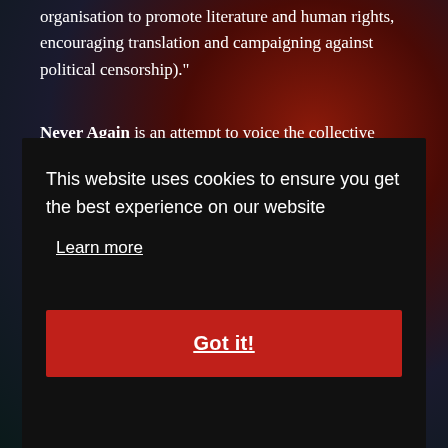organisation to promote literature and human rights, encouraging translation and campaigning against political censorship)."
Never Again is an attempt to voice the collective revulsion of writers in the weird fiction genre against political attitudes that stifle compassion and deny our collective human inheritance. The imagination is crucial to an understanding both of human diversity and of common ground. Weird fiction is often stigmatised as a reactionary and ignorant genre - we know better. The anthology will be published by Gray Friar Press in September 2018 and edited by Albe...
This website uses cookies to ensure you get the best experience on our website
Learn more
Got it!
will be donated to anti-racist or human rights